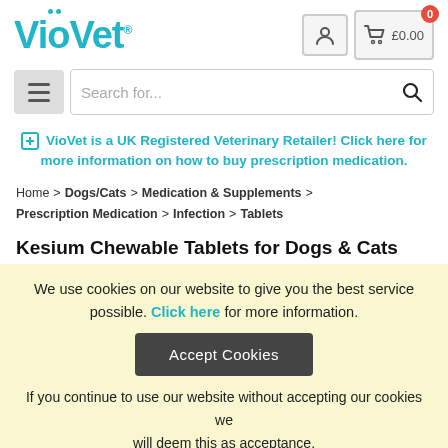VioVet
VioVet is a UK Registered Veterinary Retailer! Click here for more information on how to buy prescription medication.
Home > Dogs/Cats > Medication & Supplements > Prescription Medication > Infection > Tablets
Kesium Chewable Tablets for Dogs & Cats
We use cookies on our website to give you the best service possible. Click here for more information.
Accept Cookies
If you continue to use our website without accepting our cookies we will deem this as acceptance.